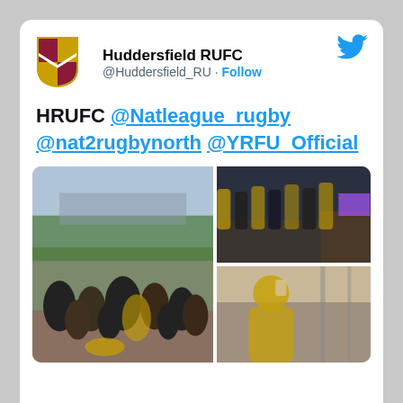[Figure (logo): Huddersfield RUFC shield logo in maroon and yellow]
Huddersfield RUFC
@Huddersfield_RU · Follow
[Figure (logo): Twitter bird icon in blue]
HRUFC @Natleague_rugby @nat2rugbynorth @YRFU_Official
[Figure (photo): Three photos: large group photo outdoors, rugby team indoors at bar, and a player drinking outdoors against stone wall]
We use cookies to ensure that we give you the best experience on our website. If you continue to use this site we will assume that you are happy with it.
Accept
Privacy policy